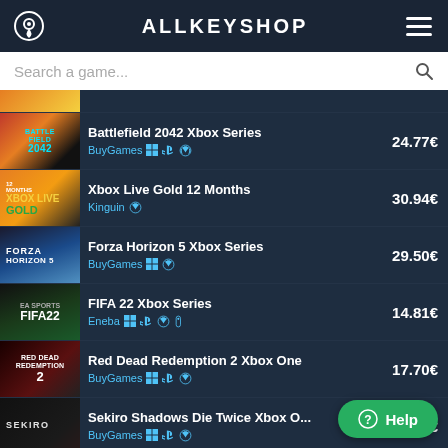ALLKEYSHOP
Search a game...
Battlefield 2042 Xbox Series | BuyGames | 24.77€
Xbox Live Gold 12 Months | Kinguin | 30.94€
Forza Horizon 5 Xbox Series | BuyGames | 29.50€
FIFA 22 Xbox Series | Eneba | 14.81€
Red Dead Redemption 2 Xbox One | BuyGames | 17.70€
Sekiro Shadows Die Twice Xbox O... | BuyGames | 16.39€
FAR CRY 6 Xbox One | BuyGames
Cyberpunk 2077 Xbox One | 16.39€